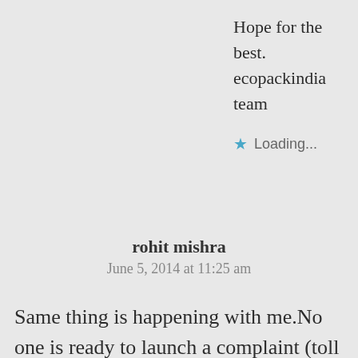Hope for the best.
ecopackindia team
Loading...
rohit mishra
June 5, 2014 at 11:25 am
Same thing is happening with me.No one is ready to launch a complaint (toll free and my home branch).finally i submitted a written complaint letter but its also of no